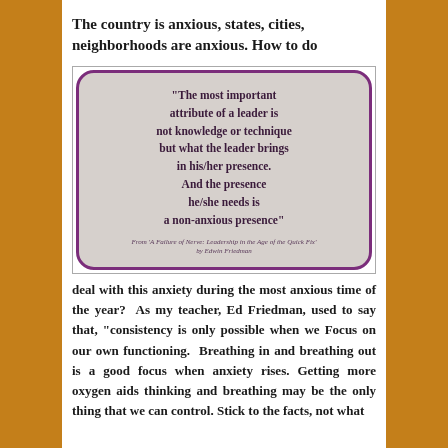The country is anxious, states, cities, neighborhoods are anxious. How to do
[Figure (illustration): A rounded-corner quote box with purple border on grey background containing a quote: “The most important attribute of a leader is not knowledge or technique but what the leader brings in his/her presence. And the presence he/she needs is a non-anxious presence” From ‘A Failure of Nerve: Leadership in the Age of the Quick Fix’ by Edwin Friedman]
deal with this anxiety during the most anxious time of the year?  As my teacher, Ed Friedman, used to say that, “consistency is only possible when we Focus on our own functioning.  Breathing in and breathing out is a good focus when anxiety rises. Getting more oxygen aids thinking and breathing may be the only thing that we can control. Stick to the facts, not what